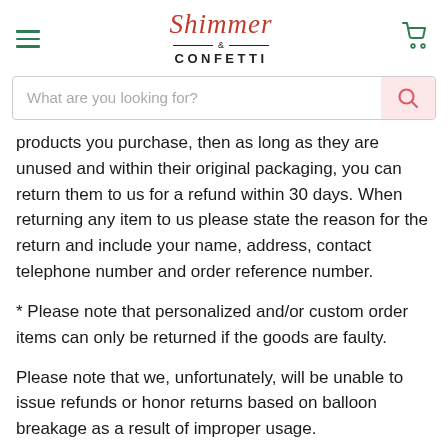Shimmer & CONFETTI — navigation header with hamburger menu, logo, and cart icon
What are you looking for?
products you purchase, then as long as they are unused and within their original packaging, you can return them to us for a refund within 30 days. When returning any item to us please state the reason for the return and include your name, address, contact telephone number and order reference number.
* Please note that personalized and/or custom order items can only be returned if the goods are faulty.
Please note that we, unfortunately, will be unable to issue refunds or honor returns based on balloon breakage as a result of improper usage.